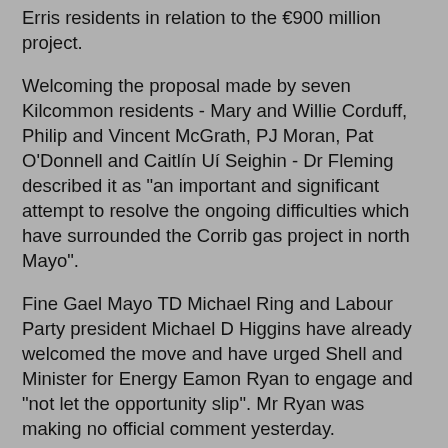Erris residents in relation to the €900 million project.
Welcoming the proposal made by seven Kilcommon residents - Mary and Willie Corduff, Philip and Vincent McGrath, PJ Moran, Pat O'Donnell and Caitlín Uí Seighin - Dr Fleming described it as "an important and significant attempt to resolve the ongoing difficulties which have surrounded the Corrib gas project in north Mayo".
Fine Gael Mayo TD Michael Ring and Labour Party president Michael D Higgins have already welcomed the move and have urged Shell and Minister for Energy Eamon Ryan to engage and "not let the opportunity slip". Mr Ryan was making no official comment yesterday.
However, Shell EP Ireland submitted an application to Mr Ryan's department yesterday for its modified onshore pipeline. A department spokeswoman said that his statutory role in relation to this may preclude any wider involvement.
Shell EP Ireland is also submitting its application to An Bord Pleanála and is seeking a direction from the board on the